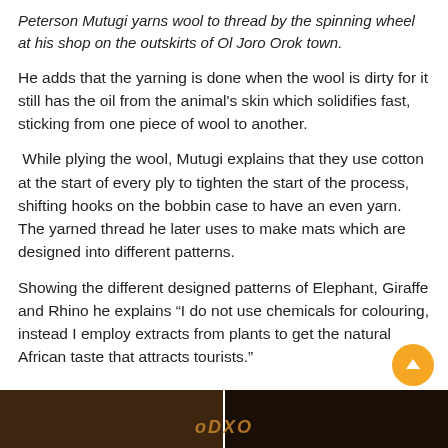Peterson Mutugi yarns wool to thread by the spinning wheel at his shop on the outskirts of Ol Joro Orok town.
He adds that the yarning is done when the wool is dirty for it still has the oil from the animal's skin which solidifies fast, sticking from one piece of wool to another.
While plying the wool, Mutugi explains that they use cotton at the start of every ply to tighten the start of the process, shifting hooks on the bobbin case to have an even yarn. The yarned thread he later uses to make mats which are designed into different patterns.
Showing the different designed patterns of Elephant, Giraffe and Rhino he explains “I do not use chemicals for colouring, instead I employ extracts from plants to get the natural African taste that attracts tourists.”
[Figure (photo): Dark photograph strip at the bottom of the page showing a dimly lit scene, split into two panels by a white divider, with orange text overlay reading 'oDXO' visible in the center.]